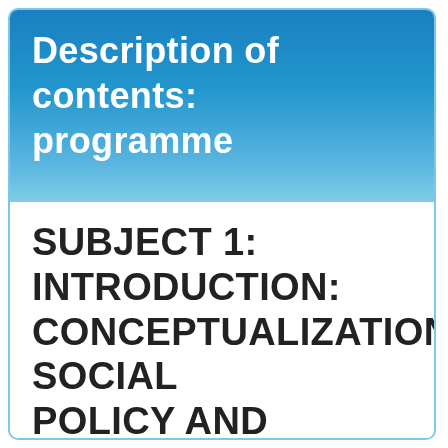Description of contents: programme
SUBJECT 1: INTRODUCTION: CONCEPTUALIZATION SOCIAL POLICY AND